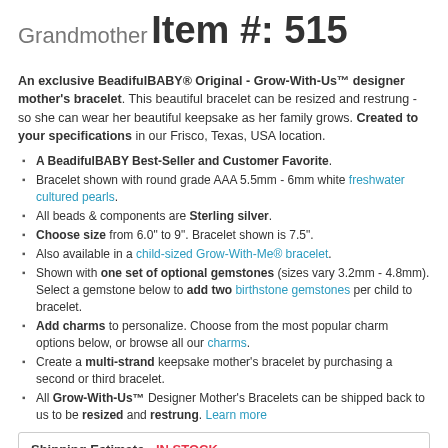Grandmother
Item #: 515
An exclusive BeadifulBABY® Original - Grow-With-Us™ designer mother's bracelet. This beautiful bracelet can be resized and restrung - so she can wear her beautiful keepsake as her family grows. Created to your specifications in our Frisco, Texas, USA location.
A BeadifulBABY Best-Seller and Customer Favorite.
Bracelet shown with round grade AAA 5.5mm - 6mm white freshwater cultured pearls.
All beads & components are Sterling silver.
Choose size from 6.0" to 9". Bracelet shown is 7.5".
Also available in a child-sized Grow-With-Me® bracelet.
Shown with one set of optional gemstones (sizes vary 3.2mm - 4.8mm). Select a gemstone below to add two birthstone gemstones per child to bracelet.
Add charms to personalize. Choose from the most popular charm options below, or browse all our charms.
Create a multi-strand keepsake mother's bracelet by purchasing a second or third bracelet.
All Grow-With-Us™ Designer Mother's Bracelets can be shipped back to us to be resized and restrung. Learn more
Shipping Estimate - IN STOCK
This item is estimated to ship within 48 hours (excluding holidays & weekends). Add transit time for estimated delivery date. Click for details.
$173.00 with options selected below
Step 1. Select Adult Bracelet Size.